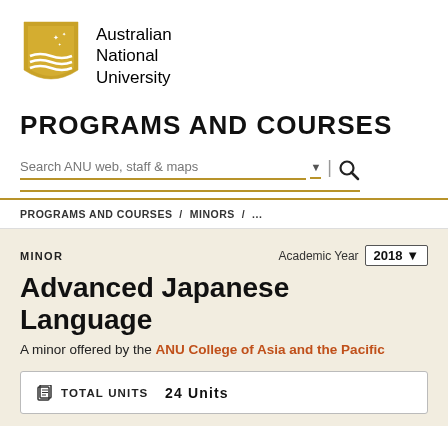[Figure (logo): Australian National University shield logo in gold/yellow with waves and stars]
Australian
National
University
PROGRAMS AND COURSES
[Figure (other): Search bar with text 'Search ANU web, staff & maps', dropdown arrow, divider, and magnifying glass icon]
PROGRAMS AND COURSES / MINORS / ...
MINOR
Academic Year 2018
Advanced Japanese Language
A minor offered by the ANU College of Asia and the Pacific
TOTAL UNITS  24 Units